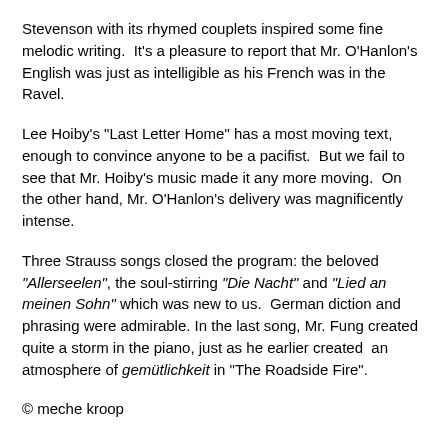Stevenson with its rhymed couplets inspired some fine melodic writing.  It's a pleasure to report that Mr. O'Hanlon's English was just as intelligible as his French was in the Ravel.
Lee Hoiby's "Last Letter Home" has a most moving text, enough to convince anyone to be a pacifist.  But we fail to see that Mr. Hoiby's music made it any more moving.  On the other hand, Mr. O'Hanlon's delivery was magnificently intense.
Three Strauss songs closed the program: the beloved "Allerseelen", the soul-stirring "Die Nacht" and "Lied an meinen Sohn" which was new to us.  German diction and phrasing were admirable. In the last song, Mr. Fung created quite a storm in the piano, just as he earlier created  an atmosphere of gemütlichkeit in "The Roadside Fire".
© meche kroop